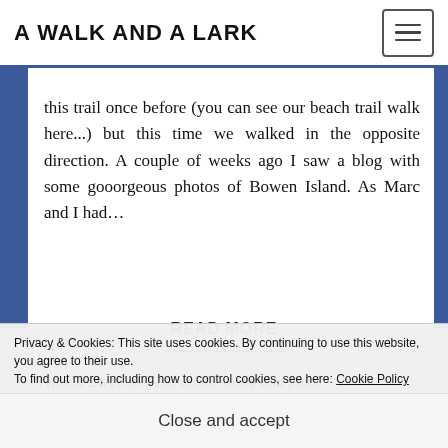A WALK AND A LARK
this trail once before (you can see our beach trail walk here...) but this time we walked in the opposite direction. A couple of weeks ago I saw a blog with some gooorgeous photos of Bowen Island. As Marc and I had...
READ MORE
I would LOVE it if you could share this post!
Twitter  Facebook  Pinterest 12  Flipboard
Privacy & Cookies: This site uses cookies. By continuing to use this website, you agree to their use. To find out more, including how to control cookies, see here: Cookie Policy
Close and accept
Loading...